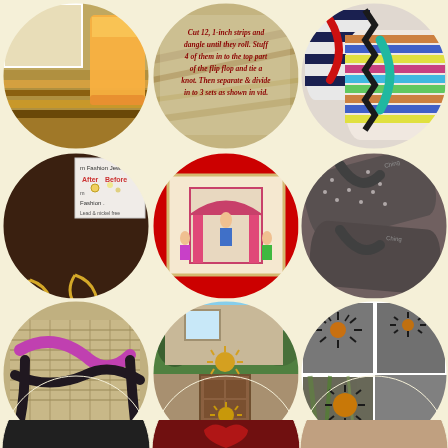[Figure (photo): Collage of circular images on cream background. Row 1: food/sandwich with orange drink, rope/craft instructions with italic red text, colorful flip flops. Row 2: costume jewelry earrings (before/after fashion), embroidered art in red-bordered circle, gray polka dot flip flops. Row 3: sandals with pink/black straps, house front door with sunburst decoration, wall art decor collage. Row 4 (partial): three partially visible circular images at bottom.]